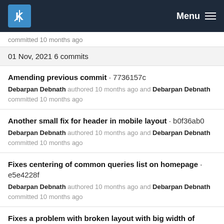KDE Menu
committed 10 months ago
01 Nov, 2021 6 commits
Amending previous commit · 7736157c
Debarpan Debnath authored 10 months ago and Debarpan Debnath committed 10 months ago
Another small fix for header in mobile layout · b0f36ab0
Debarpan Debnath authored 10 months ago and Debarpan Debnath committed 10 months ago
Fixes centering of common queries list on homepage · e5e4228f
Debarpan Debnath authored 10 months ago and Debarpan Debnath committed 10 months ago
Fixes a problem with broken layout with big width of comments · c8a3b24d
Debarpan Debnath authored 10 months ago and Debarpan